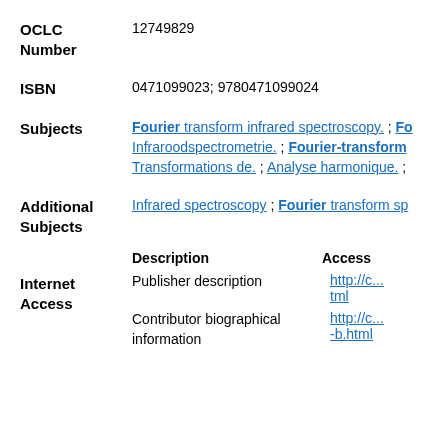OCLC Number: 12749829
ISBN: 0471099023; 9780471099024
Subjects: Fourier transform infrared spectroscopy. ; Fo... Infraroodspectrometrie. ; Fourier-transform... Transformations de. ; Analyse harmonique. ;
Additional Subjects: Infrared spectroscopy ; Fourier transform sp...
|  | Description | Access |
| --- | --- | --- |
| Internet Access | Publisher description | http://c...tml |
|  | Contributor biographical information | http://c...-b.html |